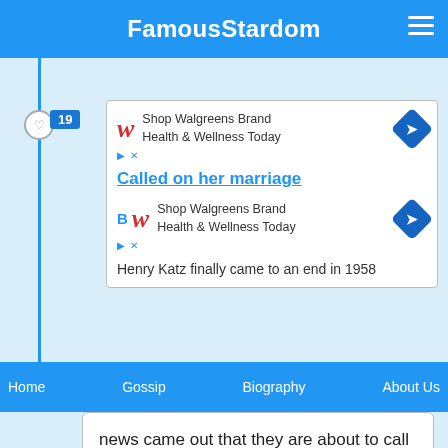FamousStardom
[Figure (screenshot): Walgreens ad: Shop Walgreens Brand Health & Wellness Today]
Called on her marriage
[Figure (screenshot): Walgreens ad: Shop Walgreens Brand Health & Wellness Today]
Henry Katz finally came to an end in 1958
Home   Gossip   Biography   About Us
news came out that they are about to call off their marriage and they did in 1958. The reason is unknown though.
[Figure (screenshot): Walgreens ad: GSK Pain Relief For You — Walgreens Photo]